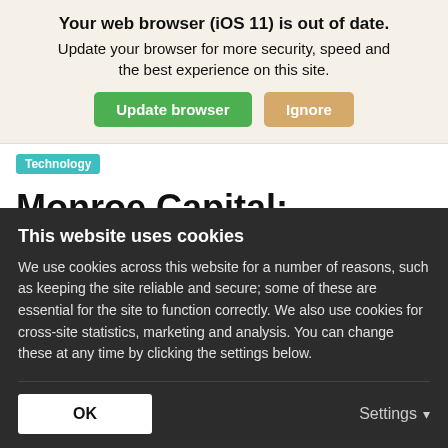Your web browser (iOS 11) is out of date. Update your browser for more security, speed and the best experience on this site.
Update browser | Ignore
Technology
Monroe Capital: Specialisation hones edge in software
This website uses cookies
We use cookies across this website for a number of reasons, such as keeping the site reliable and secure; some of these are essential for the site to function correctly. We also use cookies for cross-site statistics, marketing and analysis. You can change these at any time by clicking the settings below.
OK
Settings